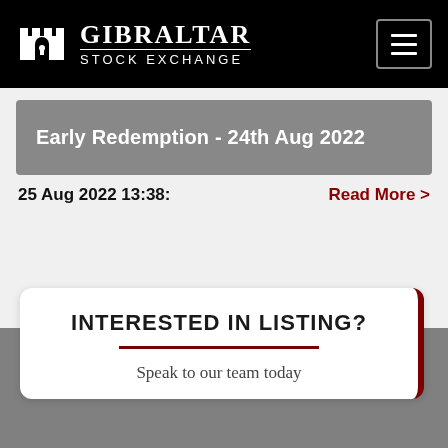GIBRALTAR STOCK EXCHANGE
Early Redemption - 24th Aug 2022
25 Aug 2022 13:38:
Read More >
INTERESTED IN LISTING?
Speak to our team today